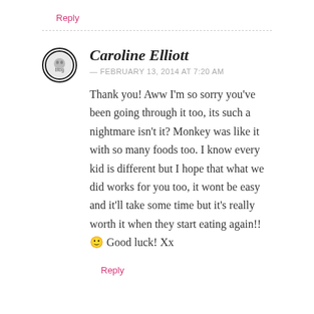Reply
Caroline Elliott — FEBRUARY 13, 2014 AT 7:20 AM
Thank you! Aww I'm so sorry you've been going through it too, its such a nightmare isn't it? Monkey was like it with so many foods too. I know every kid is different but I hope that what we did works for you too, it wont be easy and it'll take some time but it's really worth it when they start eating again!! 🙂 Good luck! Xx
Reply